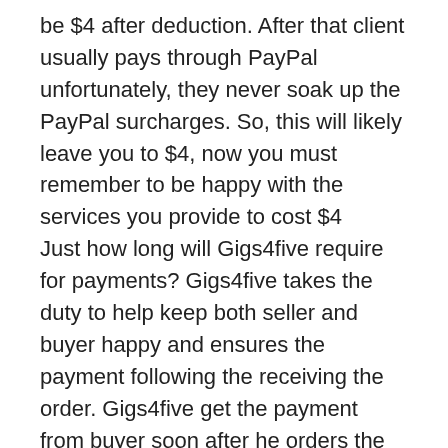be $4 after deduction. After that client usually pays through PayPal unfortunately, they never soak up the PayPal surcharges. So, this will likely leave you to $4, now you must remember to be happy with the services you provide to cost $4
Just how long will Gigs4five require for payments? Gigs4five takes the duty to help keep both seller and buyer happy and ensures the payment following the receiving the order. Gigs4five get the payment from buyer soon after he orders the assistance and hold before order is fully gone. Following your successful completion and submission in the order, it takes 12 days to transfer the funds back and ready to deposit to PayPal.
It indicates the customer has the required time analyze the help and claim if needed, it assists to to guard the purchaser from frauds and scam sellers. With your